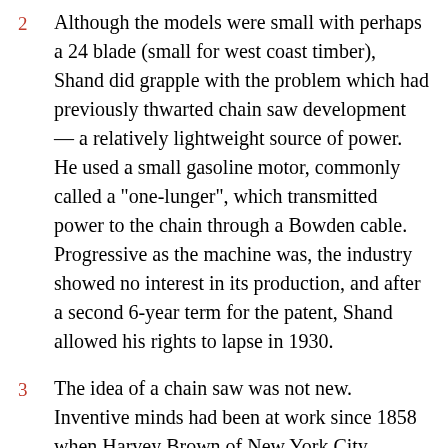2   Although the models were small with perhaps a 24 blade (small for west coast timber), Shand did grapple with the problem which had previously thwarted chain saw development — a relatively lightweight source of power. He used a small gasoline motor, commonly called a "one-lunger", which transmitted power to the chain through a Bowden cable. Progressive as the machine was, the industry showed no interest in its production, and after a second 6-year term for the patent, Shand allowed his rights to lapse in 1930.
3   The idea of a chain saw was not new. Inventive minds had been at work since 1858 when Harvey Brown of New York City patented his "endless section sawing mechanism", the first device to utilise moving saw bits on a guide bar Further inventions followed during the 19th and early 20th centuries hut none was easily portable as the...